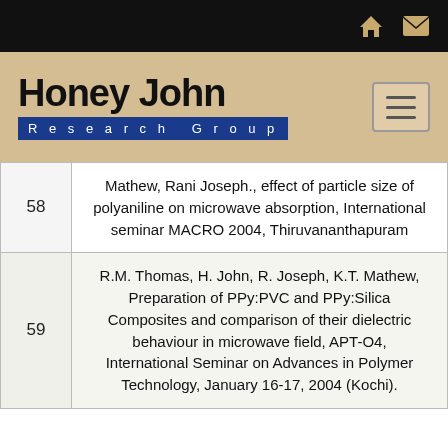[Figure (logo): Honey John Research Group logo with black top bar containing home and mail icons, on a beige background]
| # | Reference |
| --- | --- |
| 58 | Mathew, Rani Joseph., effect of particle size of polyaniline on microwave absorption, International seminar MACRO 2004, Thiruvananthapuram |
| 59 | R.M. Thomas, H. John, R. Joseph, K.T. Mathew, Preparation of PPy:PVC and PPy:Silica Composites and comparison of their dielectric behaviour in microwave field, APT-O4, International Seminar on Advances in Polymer Technology, January 16-17, 2004 (Kochi). |